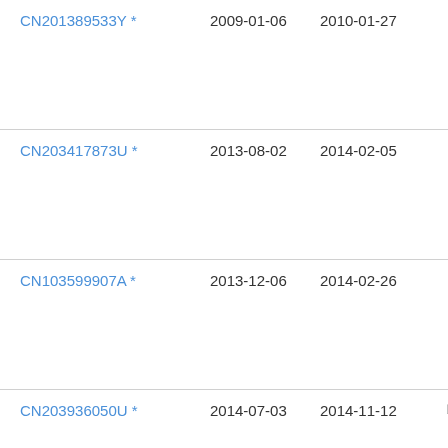| Patent ID | Date 1 | Date 2 | Icons |
| --- | --- | --- | --- |
| CN201389533Y * | 2009-01-06 | 2010-01-27 | □□□ |
| CN203417873U * | 2013-08-02 | 2014-02-05 | □□□ |
| CN103599907A * | 2013-12-06 | 2014-02-26 | □□□ |
| CN203936050U * | 2014-07-03 | 2014-11-12 | □□□□ |